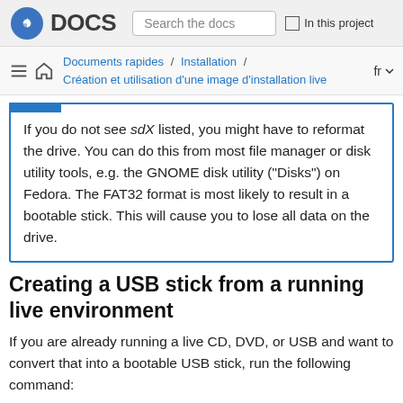Fedora DOCS | Search the docs | In this project
Documents rapides / Installation / Création et utilisation d'une image d'installation live — fr
If you do not see sdX listed, you might have to reformat the drive. You can do this from most file manager or disk utility tools, e.g. the GNOME disk utility ("Disks") on Fedora. The FAT32 format is most likely to result in a bootable stick. This will cause you to lose all data on the drive.
Creating a USB stick from a running live environment
If you are already running a live CD, DVD, or USB and want to convert that into a bootable USB stick, run the following command: